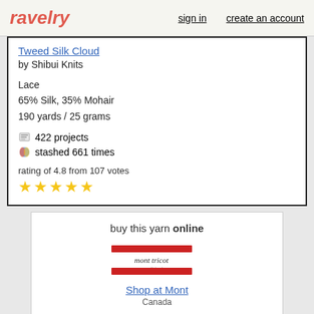ravelry  sign in  create an account
Tweed Silk Cloud
by Shibui Knits
Lace
65% Silk, 35% Mohair
190 yards / 25 grams
422 projects
stashed 661 times
rating of 4.8 from 107 votes
★★★★★
buy this yarn online
[Figure (logo): Mont Tricot shop logo with red stripes and cursive text]
Shop at Mont
Canada